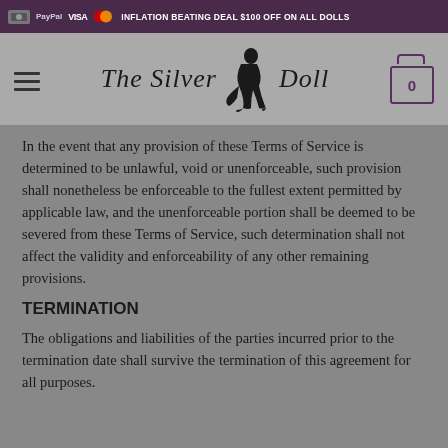INFLATION BEATING DEAL $100 OFF ON ALL DOLLS
[Figure (logo): The Silver Doll logo with silhouette figure and stylized script text]
In the event that any provision of these Terms of Service is determined to be unlawful, void or unenforceable, such provision shall nonetheless be enforceable to the fullest extent permitted by applicable law, and the unenforceable portion shall be deemed to be severed from these Terms of Service, such determination shall not affect the validity and enforceability of any other remaining provisions.
TERMINATION
The obligations and liabilities of the parties incurred prior to the termination date shall survive the termination of this agreement for all purposes.